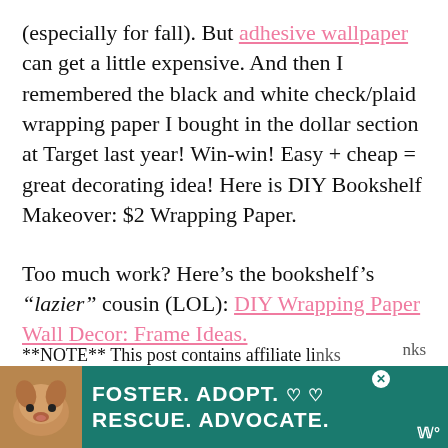(especially for fall).  But adhesive wallpaper can get a little expensive.   And then I remembered the black and white check/plaid wrapping paper I bought in the dollar section at Target last year!  Win-win!  Easy + cheap = great decorating idea!  Here is DIY Bookshelf Makeover:  $2 Wrapping Paper.
Too much work?  Here’s the bookshelf’s “lazier” cousin (LOL):  DIY Wrapping Paper Wall Decor: Frame Ideas.
**NOTE**  This post contains affiliate links...
[Figure (infographic): Advertisement banner: teal/green background with dog photo on left side, text reading FOSTER. ADOPT. RESCUE. ADVOCATE. with heart symbols, close button, and logo watermark.]